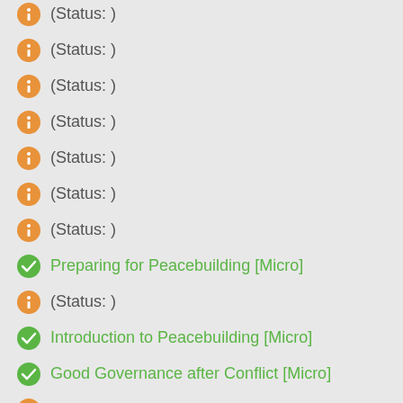(Status: )
(Status: )
(Status: )
(Status: )
(Status: )
(Status: )
(Status: )
Preparing for Peacebuilding [Micro]
(Status: )
Introduction to Peacebuilding [Micro]
Good Governance after Conflict [Micro]
(Status: )
(Status: )
(Status: )
(Status: )
(Status: )